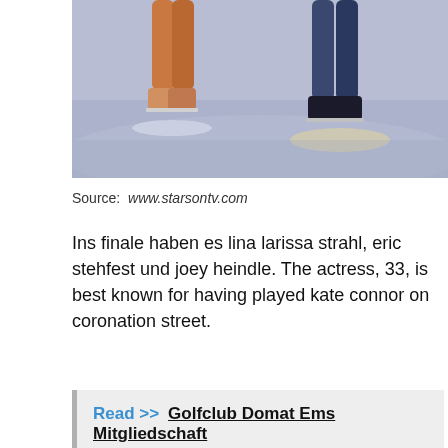[Figure (photo): Ice skaters' legs on ice rink, partial view showing lower bodies in motion]
Source: www.starsontv.com
Ins finale haben es lina larissa strahl, eric stehfest und joey heindle. The actress, 33, is best known for having played kate connor on coronation street.
Read >> Golfclub Domat Ems Mitgliedschaft
Dancing on Ice SAT.1 Generalprobe mit Hindernissen